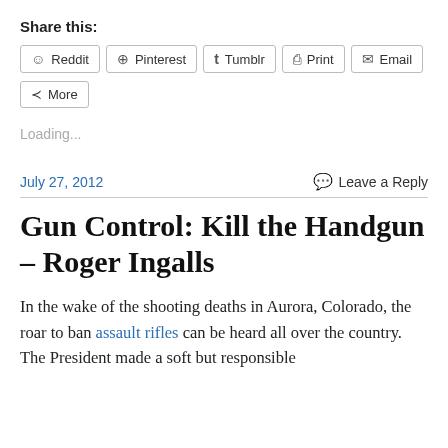Share this:
Reddit  Pinterest  Tumblr  Print  Email
More
Loading...
July 27, 2012    Leave a Reply
Gun Control: Kill the Handgun – Roger Ingalls
In the wake of the shooting deaths in Aurora, Colorado, the roar to ban assault rifles can be heard all over the country. The President made a soft but responsible